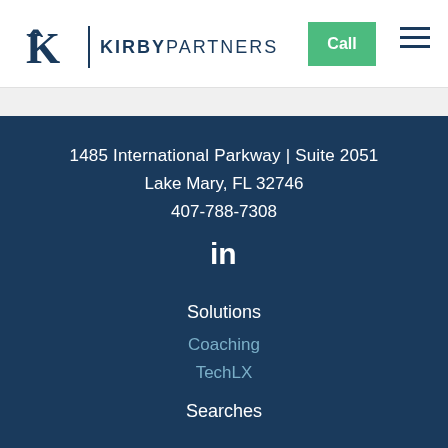[Figure (logo): Kirby Partners logo with stylized K and vertical divider]
Call
1485 International Parkway | Suite 2051
Lake Mary, FL 32746
407-788-7308
[Figure (logo): LinkedIn icon in white]
Solutions
Coaching
TechLX
Searches